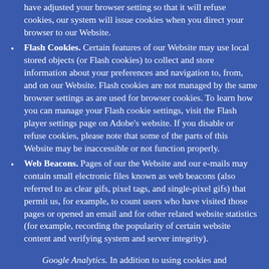have adjusted your browser setting so that it will refuse cookies, our system will issue cookies when you direct your browser to our Website.
Flash Cookies. Certain features of our Website may use local stored objects (or Flash cookies) to collect and store information about your preferences and navigation to, from, and on our Website. Flash cookies are not managed by the same browser settings as are used for browser cookies. To learn how you can manage your Flash cookie settings, visit the Flash player settings page on Adobe's website. If you disable or refuse cookies, please note that some of the parts of this Website may be inaccessible or not function properly.
Web Beacons. Pages of our the Website and our e-mails may contain small electronic files known as web beacons (also referred to as clear gifs, pixel tags, and single-pixel gifs) that permit us, for example, to count users who have visited those pages or opened an email and for other related website statistics (for example, recording the popularity of certain website content and verifying system and server integrity).
Google Analytics. In addition to using cookies and